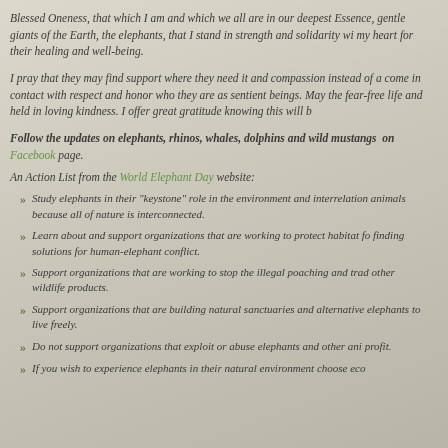Blessed Oneness, that which I am and which we all are in our deepest Essence, gentle giants of the Earth, the elephants, that I stand in strength and solidarity wi my heart for their healing and well-being.
I pray that they may find support where they need it and compassion instead of a come in contact with respect and honor who they are as sentient beings. May the fear-free life and held in loving kindness. I offer great gratitude knowing this will b
Follow the updates on elephants, rhinos, whales, dolphins and wild mustangs on Facebook page.
An Action List from the World Elephant Day website:
Study elephants in their "keystone" role in the environment and interrelation animals because all of nature is interconnected.
Learn about and support organizations that are working to protect habitat fo finding solutions for human-elephant conflict.
Support organizations that are working to stop the illegal poaching and trad other wildlife products.
Support organizations that are building natural sanctuaries and alternative elephants to live freely.
Do not support organizations that exploit or abuse elephants and other ani profit.
If you wish to experience elephants in their natural environment choose eco